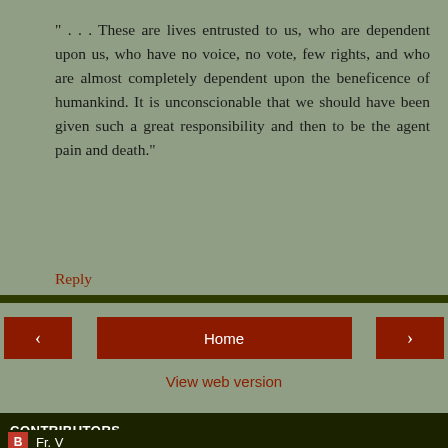" . . . These are lives entrusted to us, who are dependent upon us, who have no voice, no vote, few rights, and who are almost completely dependent upon the beneficence of humankind. It is unconscionable that we should have been given such a great responsibility and then to be the agent pain and death."
Reply
Home | < | > | View web version
CONTRIBUTORS
Fr. V
Habemus Panam